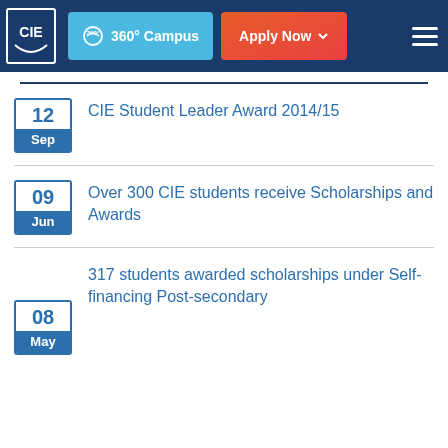CIE | 360° Campus | Apply Now
12 Sep — CIE Student Leader Award 2014/15
09 Jun — Over 300 CIE students receive Scholarships and Awards
08 May — 317 students awarded scholarships under Self-financing Post-secondary